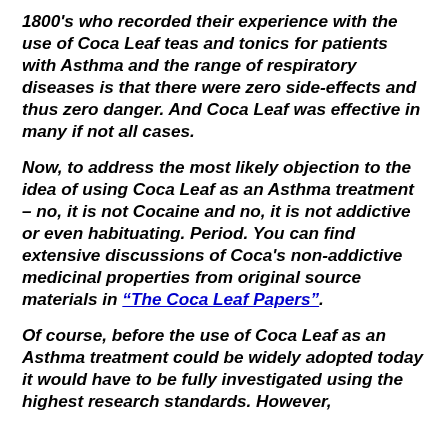1800's who recorded their experience with the use of Coca Leaf teas and tonics for patients with Asthma and the range of respiratory diseases is that there were zero side-effects and thus zero danger. And Coca Leaf was effective in many if not all cases.
Now, to address the most likely objection to the idea of using Coca Leaf as an Asthma treatment – no, it is not Cocaine and no, it is not addictive or even habituating. Period. You can find extensive discussions of Coca's non-addictive medicinal properties from original source materials in "The Coca Leaf Papers".
Of course, before the use of Coca Leaf as an Asthma treatment could be widely adopted today it would have to be fully investigated using the highest research standards. However,